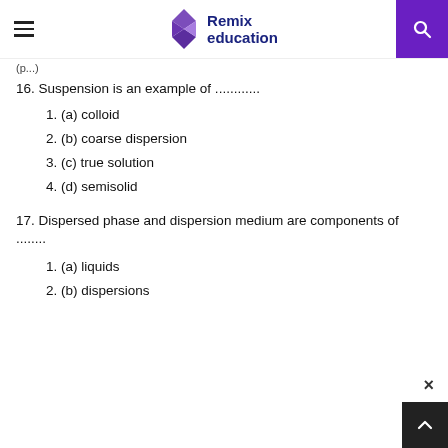Remix education
(p...)
16. Suspension is an example of ............
1. (a) colloid
2. (b) coarse dispersion
3. (c) true solution
4. (d) semisolid
17. Dispersed phase and dispersion medium are components of .......
1. (a) liquids
2. (b) dispersions